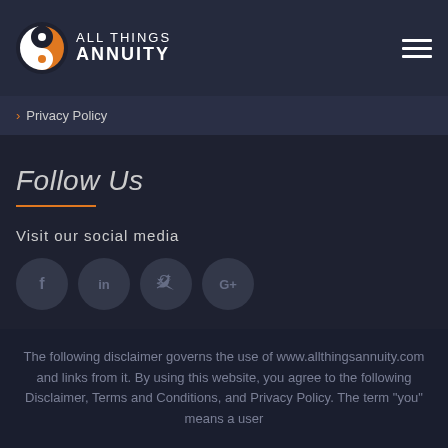ALL THINGS ANNUITY
> Privacy Policy
Follow Us
Visit our social media
[Figure (illustration): Four circular social media icons: Facebook (f), LinkedIn (in), Twitter bird, Google+ (G+)]
The following disclaimer governs the use of www.allthingsannuity.com and links from it. By using this website, you agree to the following Disclaimer, Terms and Conditions, and Privacy Policy. The term “you” means a user